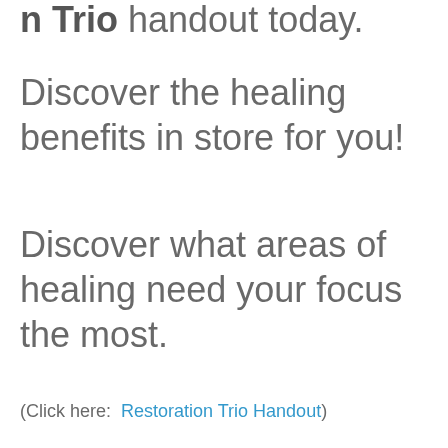n Trio handout today.
Discover the healing benefits in store for you!
Discover what areas of healing need your focus the most.
(Click here:  Restoration Trio Handout)